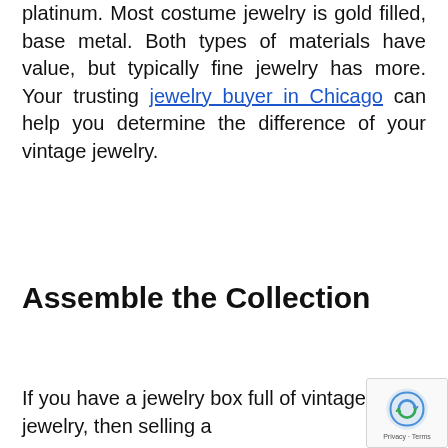platinum. Most costume jewelry is gold filled, base metal. Both types of materials have value, but typically fine jewelry has more. Your trusting jewelry buyer in Chicago can help you determine the difference of your vintage jewelry.
Assemble the Collection
If you have a jewelry box full of vintage jewelry, then selling a